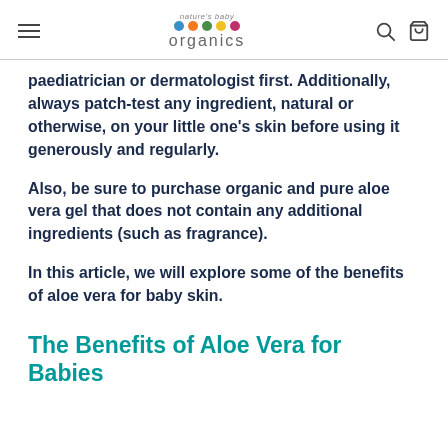nature's baby organics
paediatrician or dermatologist first. Additionally, always patch-test any ingredient, natural or otherwise, on your little one's skin before using it generously and regularly.
Also, be sure to purchase organic and pure aloe vera gel that does not contain any additional ingredients (such as fragrance).
In this article, we will explore some of the benefits of aloe vera for baby skin.
The Benefits of Aloe Vera for Babies